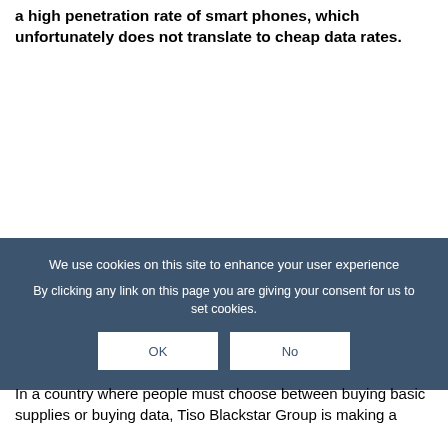a high penetration rate of smart phones, which unfortunately does not translate to cheap data rates.
We use cookies on this site to enhance your user experience
By clicking any link on this page you are giving your consent for us to set cookies.
OK  No
In a country where people must choose between buying basic supplies or buying data, Tiso Blackstar Group is making a